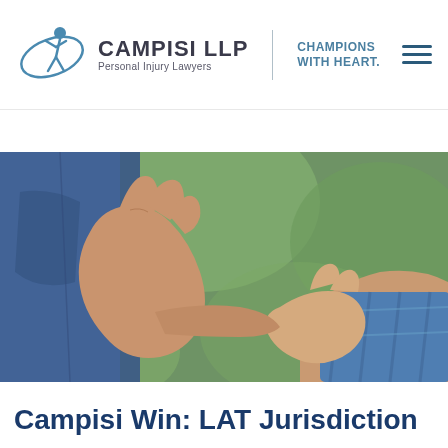[Figure (logo): Campisi LLP Personal Injury Lawyers logo with stylized figure and text. CHAMPIONS WITH HEART. tagline. Hamburger menu icon top right.]
PERSONAL INJURY BLOG
[Figure (photo): Close-up photograph of an adult hand holding a child's hand against a green background, representing personal injury legal services.]
Campisi Win: LAT Jurisdiction